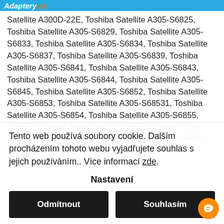Adaptery.cz
Satellite A300D-22E, Toshiba Satellite A305-S6825, Toshiba Satellite A305-S6829, Toshiba Satellite A305-S6833, Toshiba Satellite A305-S6834, Toshiba Satellite A305-S6837, Toshiba Satellite A305-S6839, Toshiba Satellite A305-S6841, Toshiba Satellite A305-S6843, Toshiba Satellite A305-S6844, Toshiba Satellite A305-S6845, Toshiba Satellite A305-S6852, Toshiba Satellite A305-S6853, Toshiba Satellite A305-S68531, Toshiba Satellite A305-S6854, Toshiba Satellite A305-S6855, Toshiba Satellite A305-S6857, Toshiba Satellite A305-S6858, Toshiba Satellite A305-S6859, Toshiba Satellite A305-S6860, Toshiba Satellite A305-S6861, Toshiba Satellite A305-S6862, Toshiba
Tento web používá soubory cookie. Dalším procházením tohoto webu vyjadřujete souhlas s jejich používáním.. Více informací zde.
Nastavení
Odmítnout
Souhlasím